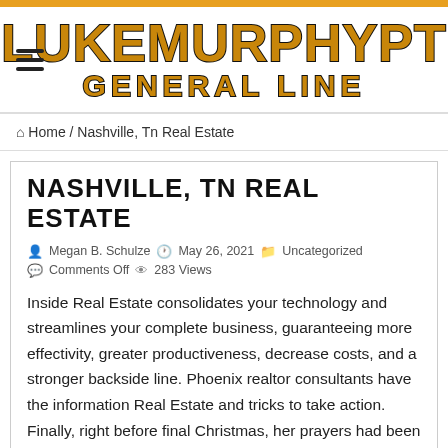LUKEMURPHYPT GENERAL LINE
Home / Nashville, Tn Real Estate
NASHVILLE, TN REAL ESTATE
Megan B. Schulze  May 26, 2021  Uncategorized  Comments Off  283 Views
Inside Real Estate consolidates your technology and streamlines your complete business, guaranteeing more effectivity, greater productiveness, decrease costs, and a stronger backside line. Phoenix realtor consultants have the information Real Estate and tricks to take action. Finally, right before final Christmas, her prayers had been answered by the House of Refuge, a non-revenue that offers short-term housing and assist to homeless families.